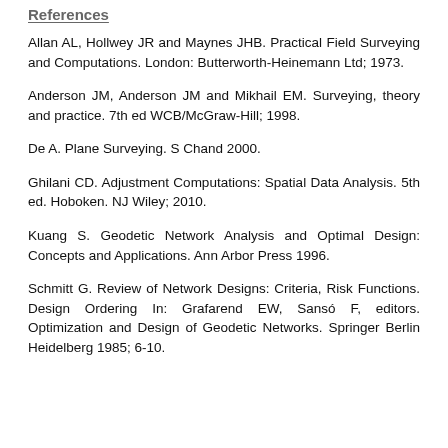References
Allan AL, Hollwey JR and Maynes JHB. Practical Field Surveying and Computations. London: Butterworth-Heinemann Ltd; 1973.
Anderson JM, Anderson JM and Mikhail EM. Surveying, theory and practice. 7th ed WCB/McGraw-Hill; 1998.
De A. Plane Surveying. S Chand 2000.
Ghilani CD. Adjustment Computations: Spatial Data Analysis. 5th ed. Hoboken. NJ Wiley; 2010.
Kuang S. Geodetic Network Analysis and Optimal Design: Concepts and Applications. Ann Arbor Press 1996.
Schmitt G. Review of Network Designs: Criteria, Risk Functions. Design Ordering In: Grafarend EW, Sansó F, editors. Optimization and Design of Geodetic Networks. Springer Berlin Heidelberg 1985; 6-10.